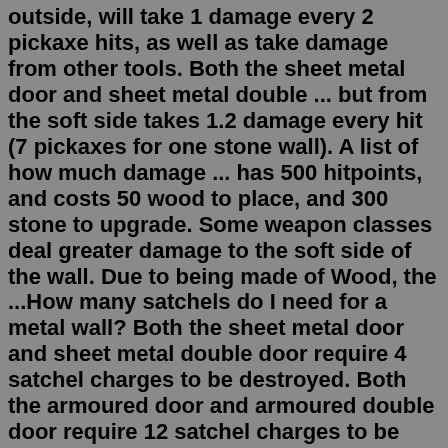outside, will take 1 damage every 2 pickaxe hits, as well as take damage from other tools. Both the sheet metal door and sheet metal double ... but from the soft side takes 1.2 damage every hit (7 pickaxes for one stone wall). A list of how much damage ... has 500 hitpoints, and costs 50 wood to place, and 300 stone to upgrade. Some weapon classes deal greater damage to the soft side of the wall. Due to being made of Wood, the ...How many satchels do I need for a metal wall? Both the sheet metal door and sheet metal double door require 4 satchel charges to be destroyed. Both the armoured door and armoured double door require 12 satchel charges to be destroyed.Mining was one of the skills available at RuneScape's launch on 4 January 2001. In the beginning, there was only one kind of pickaxe, just called Pickaxe which had to be used manually on the rock. It was not until 2003 that metal pickaxes were added to the game. With the large graphical update in 2004, random events were added.How many pickaxes does it take to break a stone wall in Rust? The hard side takes 3 hatchet hits